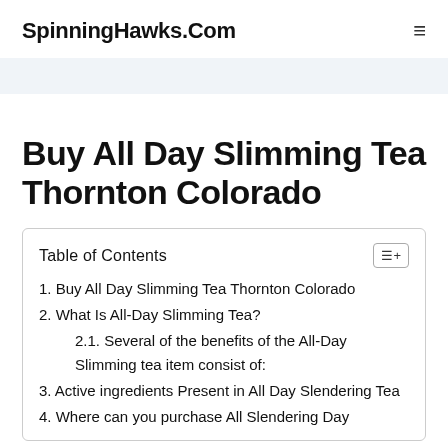SpinningHawks.Com
Buy All Day Slimming Tea Thornton Colorado
| Table of Contents |
| --- |
| 1. Buy All Day Slimming Tea Thornton Colorado |
| 2. What Is All-Day Slimming Tea? |
| 2.1. Several of the benefits of the All-Day Slimming tea item consist of: |
| 3. Active ingredients Present in All Day Slendering Tea |
| 4. Where can you purchase All Slendering Day |